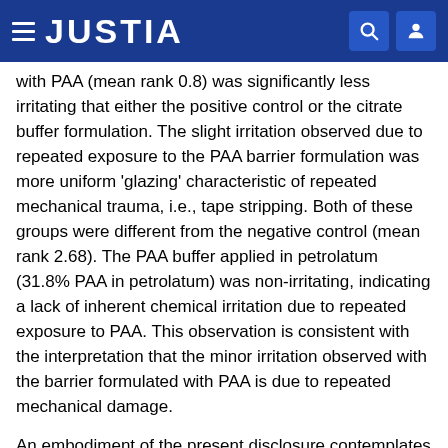JUSTIA
with PAA (mean rank 0.8) was significantly less irritating that either the positive control or the citrate buffer formulation. The slight irritation observed due to repeated exposure to the PAA barrier formulation was more uniform 'glazing' characteristic of repeated mechanical trauma, i.e., tape stripping. Both of these groups were different from the negative control (mean rank 2.68). The PAA buffer applied in petrolatum (31.8% PAA in petrolatum) was non-irritating, indicating a lack of inherent chemical irritation due to repeated exposure to PAA. This observation is consistent with the interpretation that the minor irritation observed with the barrier formulated with PAA is due to repeated mechanical damage.
An embodiment of the present disclosure contemplates the use of a high molecular weight polymeric buffer composition incorporated into the adhesive layer of a